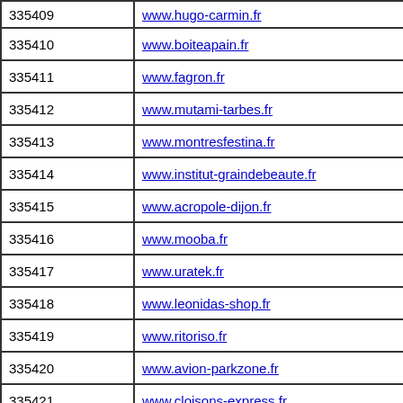| ID | URL |
| --- | --- |
| 335409 | www.hugo-carmin.fr |
| 335410 | www.boiteapain.fr |
| 335411 | www.fagron.fr |
| 335412 | www.mutami-tarbes.fr |
| 335413 | www.montresfestina.fr |
| 335414 | www.institut-graindebeaute.fr |
| 335415 | www.acropole-dijon.fr |
| 335416 | www.mooba.fr |
| 335417 | www.uratek.fr |
| 335418 | www.leonidas-shop.fr |
| 335419 | www.ritoriso.fr |
| 335420 | www.avion-parkzone.fr |
| 335421 | www.cloisons-express.fr |
| 335422 | www.kossa.fr |
| 335423 | www.reliences.fr |
| 335424 | www.supplices.fr |